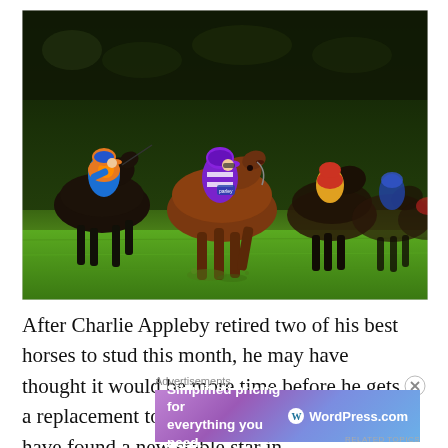[Figure (photo): Multiple jockeys riding horses in a competitive race on a grass track. The leading horse in the center is ridden by a jockey in purple and white silks. On the left is a jockey in orange and blue. Several other horses and jockeys are visible in the background.]
After Charlie Appleby retired two of his best horses to stud this month, he may have thought it would be more time before he gets a replacement to his top tier but he may just have found a new stable star in
Advertisements
[Figure (other): WordPress.com advertisement banner with gradient purple-blue background. Text reads: 'Simplified pricing for everything you need.' with WordPress.com logo on the right.]